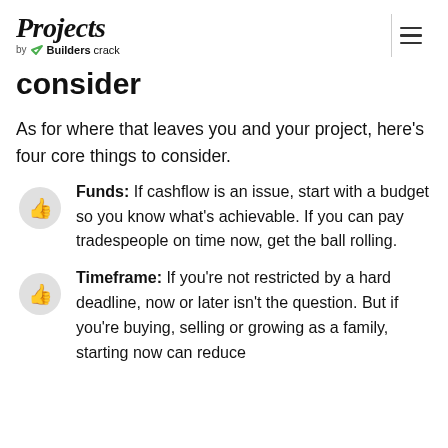Projects by Builderscrack
consider
As for where that leaves you and your project, here's four core things to consider.
Funds: If cashflow is an issue, start with a budget so you know what's achievable. If you can pay tradespeople on time now, get the ball rolling.
Timeframe: If you're not restricted by a hard deadline, now or later isn't the question. But if you're buying, selling or growing as a family, starting now can reduce